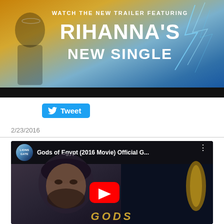[Figure (screenshot): Movie trailer banner ad: 'WATCH THE NEW TRAILER FEATURING RIHANNA'S NEW SINGLE' with blue/gold gradient background and lightning effects]
[Figure (screenshot): Twitter Tweet button in blue]
2/23/2016
[Figure (screenshot): YouTube embedded video thumbnail: 'Gods of Egypt (2016 Movie) Official G...' from Lionsgate channel, showing a man's face with red play button, and golden 'GODS' text at the bottom]